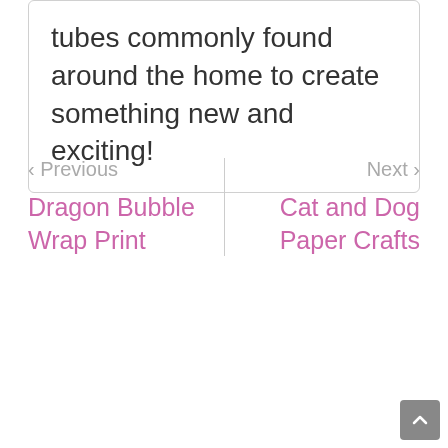tubes commonly found around the home to create something new and exciting!
< Previous
Dragon Bubble Wrap Print
Next >
Cat and Dog Paper Crafts